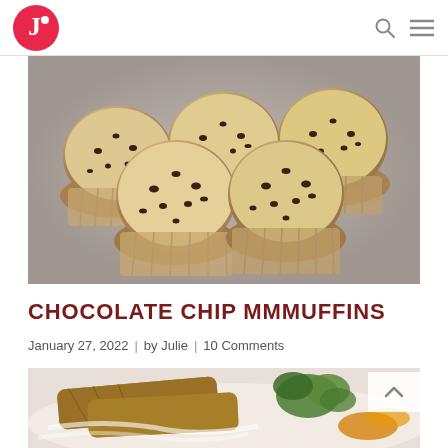Julie's website logo and navigation icons
[Figure (photo): Chocolate chip muffins on a grey surface, close-up overhead/angled view showing 5 golden-brown muffins with mini chocolate chips on top]
CHOCOLATE CHIP MMMUFFINS
January 27, 2022 | by Julie | 10 Comments
[Figure (photo): Breaded/crusted chicken or fish strips on a white plate garnished with parsley and orange/yellow vegetables, partially visible]